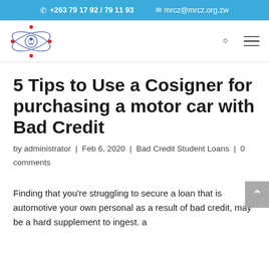+263 79 17 92 / 79 11 93    mrcz@mrcz.org.zw
[Figure (logo): MRCZ circular logo with orbit lines and red dots]
5 Tips to Use a Cosigner for purchasing a motor car with Bad Credit
by administrator | Feb 6, 2020 | Bad Credit Student Loans | 0 comments
Finding that you're struggling to secure a loan that is automotive your own personal as a result of bad credit, may be a hard supplement to ingest. a